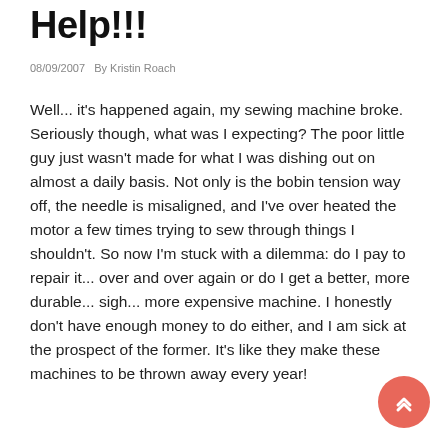Help!!!
08/09/2007   By Kristin Roach
Well... it's happened again, my sewing machine broke. Seriously though, what was I expecting? The poor little guy just wasn't made for what I was dishing out on almost a daily basis. Not only is the bobin tension way off, the needle is misaligned, and I've over heated the motor a few times trying to sew through things I shouldn't. So now I'm stuck with a dilemma: do I pay to repair it... over and over again or do I get a better, more durable... sigh... more expensive machine. I honestly don't have enough money to do either, and I am sick at the prospect of the former. It's like they make these machines to be thrown away every year!